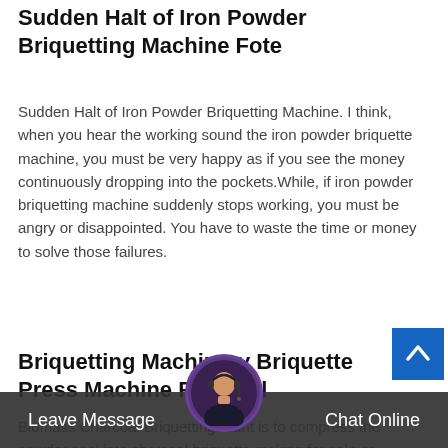Sudden Halt of Iron Powder Briquetting Machine Fote
Sudden Halt of Iron Powder Briquetting Machine. I think, when you hear the working sound the iron powder briquette machine, you must be very happy as if you see the money continuously dropping into the pockets.While, if iron powder briquetting machine suddenly stops working, you must be angry or disappointed. You have to waste the time or money to solve those failures.
Briquetting Machinery Briquette Press Machine For Coal
Biomass Charcoal Briquetting Plant is to compress the powder coal into charcoal briquette making for sale or electricity transportation. Raw material used to...